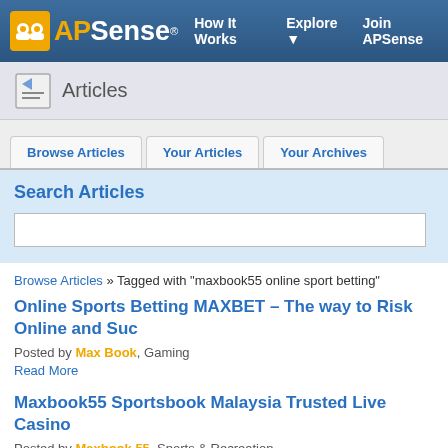APSense — How It Works  Explore  Join APSense
Articles
Browse Articles  Your Articles  Your Archives
Search Articles
Browse Articles » Tagged with "maxbook55 online sport betting"
Online Sports Betting MAXBET – The way to Risk Online and Suc
Posted by Max Book, Gaming
Read More
Maxbook55 Sportsbook Malaysia Trusted Live Casino
Posted by Maxbook 55, Sports & Recreation
Read More